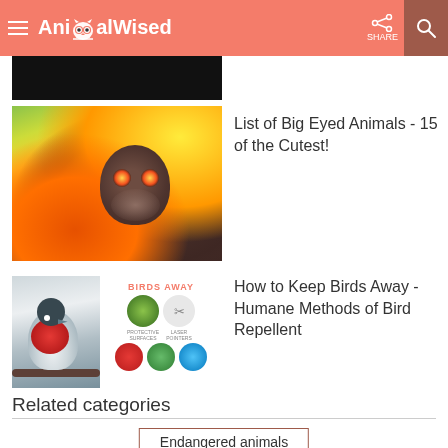AnimalWised
[Figure (photo): Partial dark/black image at top, cropped]
List of Big Eyed Animals - 15 of the Cutest!
[Figure (photo): A monkey with big eyes peering from behind a tree, surrounded by green and orange foliage]
How to Keep Birds Away - Humane Methods of Bird Repellent
[Figure (photo): A robin bird on a branch next to a 'Birds Away' infographic with circles showing deterrent methods]
Related categories
Endangered animals